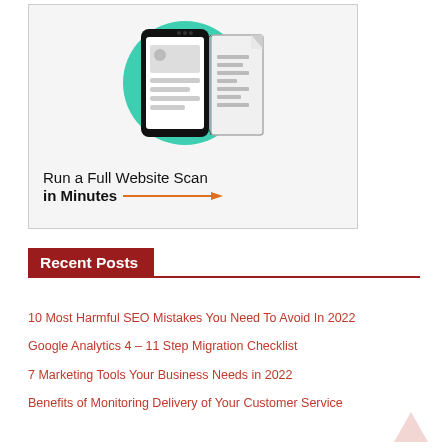[Figure (illustration): Illustration of a smartphone with a web page layout being scanned, with a teal/green circular background and a document panel sliding out. Below the illustration is text: 'Run a Full Website Scan in Minutes' with an orange arrow pointing right. The whole image is in a light gray bordered box.]
Recent Posts
10 Most Harmful SEO Mistakes You Need To Avoid In 2022
Google Analytics 4 – 11 Step Migration Checklist
7 Marketing Tools Your Business Needs in 2022
Benefits of Monitoring Delivery of Your Customer Service